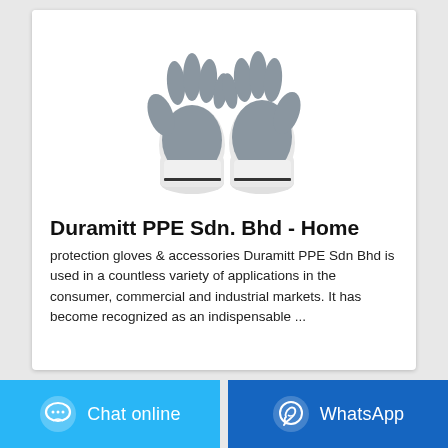[Figure (photo): Two work gloves (white with grey nitrile coating on palms and fingers) displayed on white background]
Duramitt PPE Sdn. Bhd - Home
protection gloves & accessories Duramitt PPE Sdn Bhd is used in a countless variety of applications in the consumer, commercial and industrial markets. It has become recognized as an indispensable ...